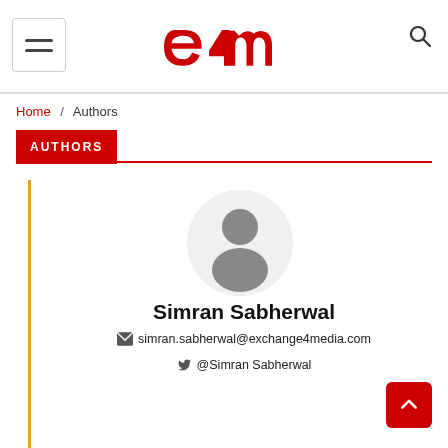[Figure (logo): e4m logo in red with a stylized 'e4m' text]
Home  /  Authors
AUTHORS
[Figure (photo): Default user avatar — grey silhouette person in a circular frame]
Simran Sabherwal
simran.sabherwal@exchange4media.com
@Simran Sabherwal